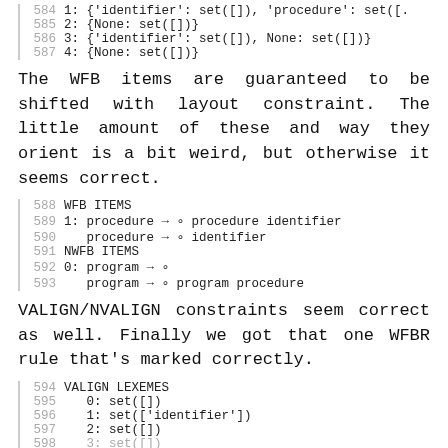1: {'identifier': set([]), 'procedure': set([.
2: {None: set([])}
3: {'identifier': set([]), None: set([])}
4: {None: set([])}
The WFB items are guaranteed to be shifted with layout constraint. The little amount of these and way they orient is a bit weird, but otherwise it seems correct.
WFB ITEMS
1: procedure → ∘ procedure identifier
   procedure → ∘ identifier
NWFB ITEMS
0: program → ∘
   program → ∘ program procedure
VALIGN/NVALIGN constraints seem correct as well. Finally we got that one WFBR rule that's marked correctly.
VALIGN LEXEMES
0: set([])
1: set(['identifier'])
2: set([])
3: set([])